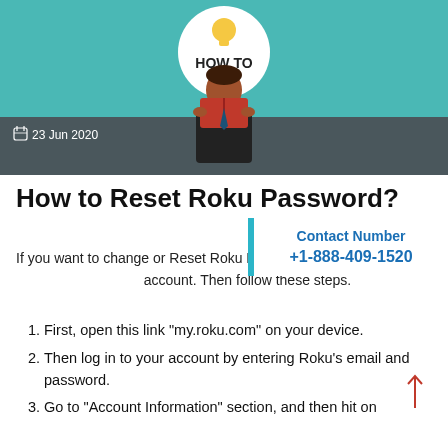[Figure (illustration): Hero banner with teal background showing a cartoon man reading a red book, with a 'HOW TO' circular graphic above, and a dark gray band at the bottom showing the date '23 Jun 2020']
How to Reset Roku Password?
If you want to change or Reset Roku Password then you have to sign in to your Roku account. Then follow these steps.
[Figure (infographic): Contact Number overlay box with teal left border showing 'Contact Number +1-888-409-1520' in blue text]
First, open this link "my.roku.com" on your device.
Then log in to your account by entering Roku's email and password.
Go to "Account Information" section, and then hit on the "Update" button.